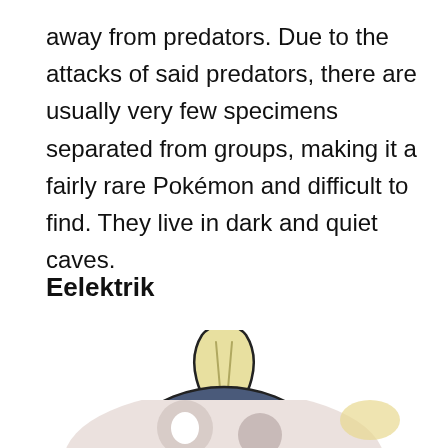away from predators. Due to the attacks of said predators, there are usually very few specimens separated from groups, making it a fairly rare Pokémon and difficult to find. They live in dark and quiet caves.
Eelektrik
[Figure (illustration): Illustration of Eelektrik Pokémon — a round dark-blue/navy circular body with a yellow mustache-like marking and red cheek, with a cream/pale yellow leaf-like fin on top. The bottom of the image shows the head of a lighter-colored Pokémon partially visible below a gray divider line.]